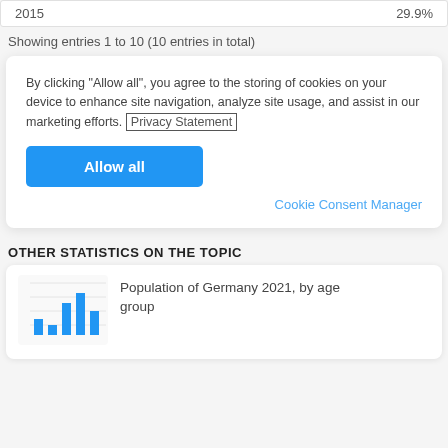| Year | Value |
| --- | --- |
| 2015 | 29.9% |
Showing entries 1 to 10 (10 entries in total)
By clicking “Allow all”, you agree to the storing of cookies on your device to enhance site navigation, analyze site usage, and assist in our marketing efforts. Privacy Statement
Allow all
Cookie Consent Manager
OTHER STATISTICS ON THE TOPIC
[Figure (bar-chart): Small bar chart thumbnail showing population data with blue bars]
Population of Germany 2021, by age group